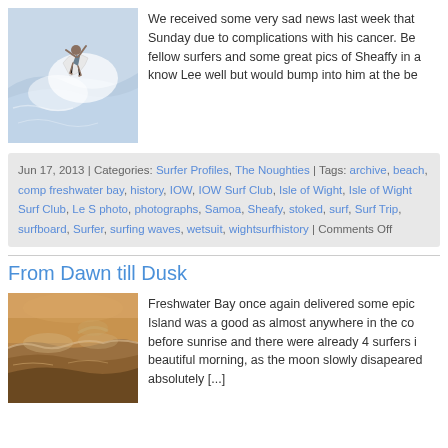[Figure (photo): Surfer performing aerial maneuver above a large wave, black and white photo]
We received some very sad news last week that Sunday due to complications with his cancer. Be fellow surfers and some great pics of Sheaffy in a know Lee well but would bump into him at the be
Jun 17, 2013 | Categories: Surfer Profiles, The Noughties | Tags: archive, beach, comp freshwater bay, history, IOW, IOW Surf Club, Isle of Wight, Isle of Wight Surf Club, Le S photo, photographs, Samoa, Sheafy, stoked, surf, Surf Trip, surfboard, Surfer, surfing waves, wetsuit, wightsurfhistory | Comments Off
From Dawn till Dusk
[Figure (photo): Ocean wave at dawn/dusk with warm sepia tones]
Freshwater Bay once again delivered some epic Island was a good as almost anywhere in the co before sunrise and there were already 4 surfers i beautiful morning, as the moon slowly disapeared absolutely [...]